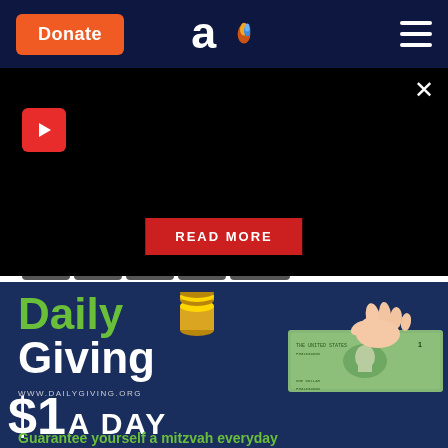Donate | Aish logo | Menu
[Figure (screenshot): Black video/content banner with play button icon and READ MORE button on dark background, with close X button]
[Figure (illustration): Daily Giving advertisement banner showing 'Daily Giving $1 A Day - Guarantee yourself a mitzvah everyday' on dark navy background with hand holding a dollar bill]